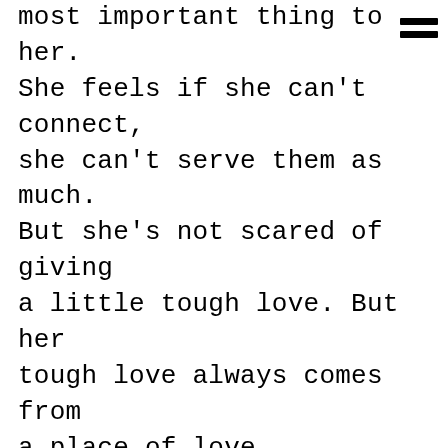most important thing to her. She feels if she can't connect, she can't serve them as much. But she's not scared of giving a little tough love. But her tough love always comes from a place of love.

She spent over 20 years in the corporate world, but COVID brought that life to a screeching halt. While talking to a friend she came to the realization that she might
[Figure (other): Hamburger menu icon with two horizontal bars in the top-right corner]